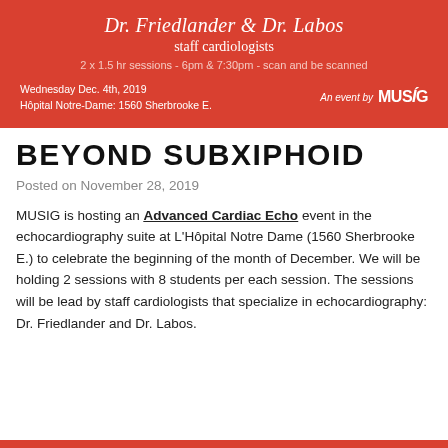[Figure (infographic): Red banner advertisement for an Advanced Cardiac Echo event featuring Dr. Friedlander & Dr. Labos, staff cardiologists. Details: 2 x 1.5 hr sessions - 6pm & 7:30pm - scan and be scanned. Wednesday Dec. 4th, 2019. Hôpital Notre-Dame: 1560 Sherbrooke E. An event by MUSIG logo.]
BEYOND SUBXIPHOID
Posted on November 28, 2019
MUSIG is hosting an Advanced Cardiac Echo event in the echocardiography suite at L'Hôpital Notre Dame (1560 Sherbrooke E.) to celebrate the beginning of the month of December. We will be holding 2 sessions with 8 students per each session. The sessions will be lead by staff cardiologists that specialize in echocardiography: Dr. Friedlander and Dr. Labos.